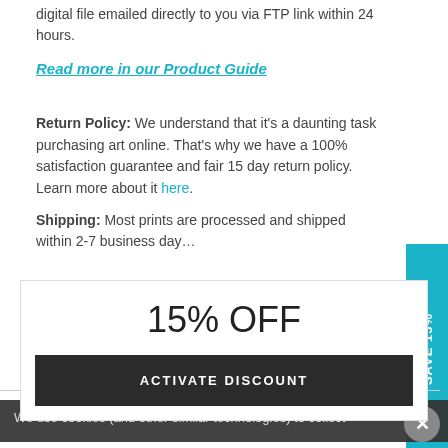digital file emailed directly to you via FTP link within 24 hours.
Read more in our Product Guide
Return Policy: We understand that it's a daunting task purchasing art online. That's why we have a 100% satisfaction guarantee and fair 15 day return policy. Learn more about it here.
Shipping: Most prints are processed and shipped within 2-7 business days.
We use cookies (and other similar technologies) to collect
15% OFF
ACTIVATE DISCOUNT